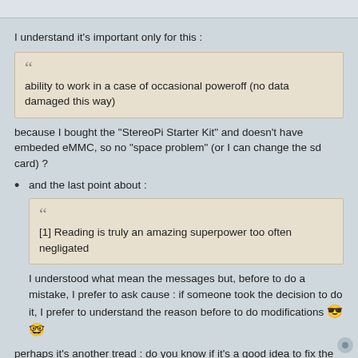I understand it's important only for this :
ability to work in a case of occasional poweroff (no data damaged this way)
because I bought the "StereoPi Starter Kit" and doesn't have embeded eMMC, so no "space problem" (or I can change the sd card) ?
and the last point about :
[1] Reading is truly an amazing superpower too often negligated
I understood what mean the messages but, before to do a mistake, I prefer to ask cause : if someone took the decision to do it, I prefer to understand the reason before to do modifications 😎🤓
perhaps it's another tread : do you know if it's a good idea to fix the ip adress of lan in order to have a direct access from a computer (without router) ?
if yes, it could be good to add this in the web interface 😁